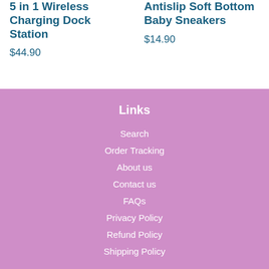5 in 1 Wireless Charging Dock Station
$44.90
Antislip Soft Bottom Baby Sneakers
$14.90
Links
Search
Order Tracking
About us
Contact us
FAQs
Privacy Policy
Refund Policy
Shipping Policy